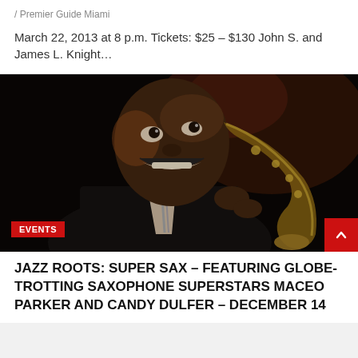/ Premier Guide Miami
March 22, 2013 at 8 p.m. Tickets: $25 – $130 John S. and James L. Knight…
[Figure (photo): A man smiling broadly while playing a saxophone, wearing a black suit with a striped tie, photographed from a low angle against a dark background. A red 'EVENTS' badge is overlaid on the lower left of the image.]
JAZZ ROOTS: SUPER SAX – FEATURING GLOBE-TROTTING SAXOPHONE SUPERSTARS MACEO PARKER AND CANDY DULFER – DECEMBER 14